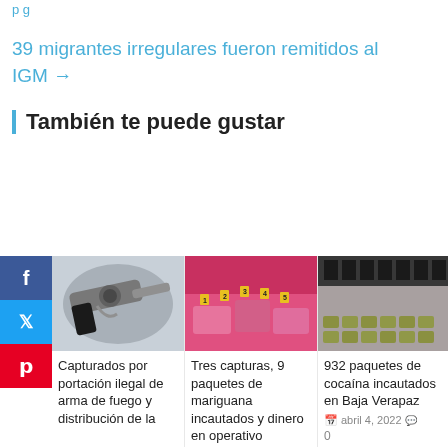p g
39 migrantes irregulares fueron remitidos al IGM →
También te puede gustar
[Figure (photo): Revolver handgun on light background]
[Figure (photo): Drug evidence bags on pink surface with numbered markers]
[Figure (photo): Cocaine packages laid out on a floor in a large room]
Capturados por portación ilegal de arma de fuego y distribución de la...
Tres capturas, 9 paquetes de mariguana incautados y dinero en operativo...
932 paquetes de cocaína incautados en Baja Verapaz
abril 4, 2022
0